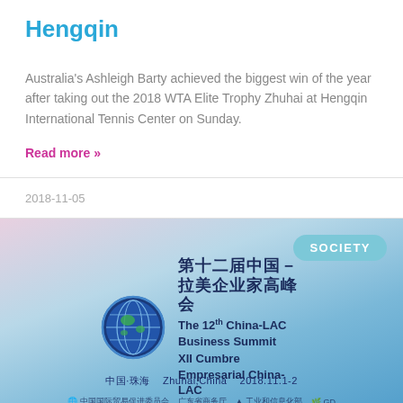Hengqin
Australia's Ashleigh Barty achieved the biggest win of the year after taking out the 2018 WTA Elite Trophy Zhuhai at Hengqin International Tennis Center on Sunday.
Read more »
2018-11-05
[Figure (photo): Promotional banner for The 12th China-LAC Business Summit (XII Cumbre Empresarial China-LAC), showing a globe logo, Chinese and English text, location Zhuhai, China, date 2018.11.1-2, with sponsor logos and a bridge silhouette background. A teal 'SOCIETY' badge appears in the top right.]